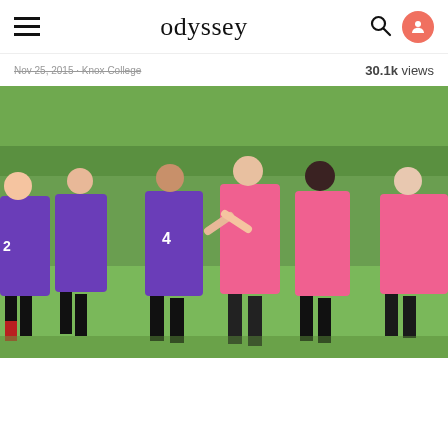odyssey
Nov 25, 2015 · Knox College    30.1k views
[Figure (photo): Girls youth soccer teams in purple and pink jerseys giving high fives / shaking hands on a grass field after a game.]